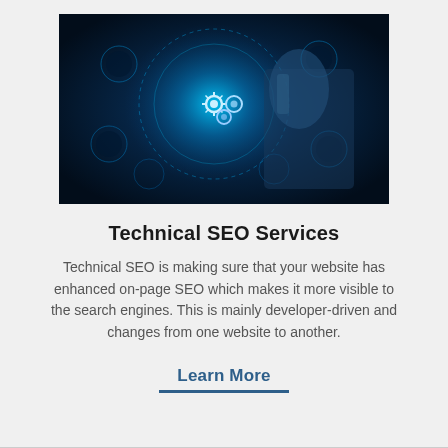[Figure (photo): A person in a dark suit pointing at a glowing blue digital interface with gear/settings icons and circular technology graphics on a dark background.]
Technical SEO Services
Technical SEO is making sure that your website has enhanced on-page SEO which makes it more visible to the search engines. This is mainly developer-driven and changes from one website to another.
Learn More